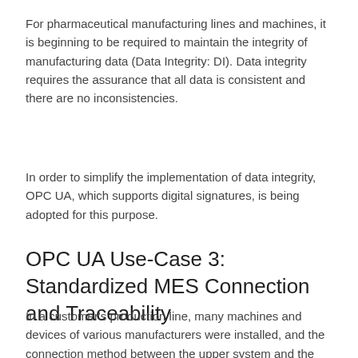For pharmaceutical manufacturing lines and machines, it is beginning to be required to maintain the integrity of manufacturing data (Data Integrity: DI). Data integrity requires the assurance that all data is consistent and there are no inconsistencies.
In order to simplify the implementation of data integrity, OPC UA, which supports digital signatures, is being adopted for this purpose.
OPC UA Use-Case 3: Standardized MES Connection and Traceability
In a customer's production line, many machines and devices of various manufacturers were installed, and the connection method between the upper system and the machines was not standardized. In order to standardize the method, the OMRON NX102 was retrofitted, and the connection with the MES (SAP)